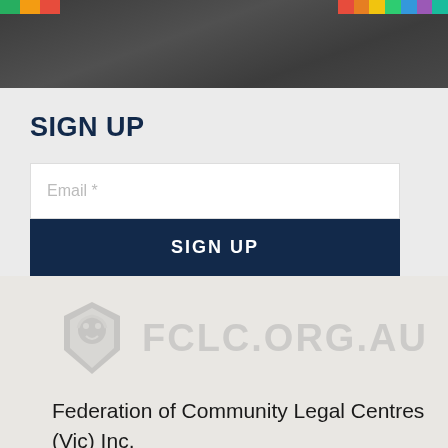[Figure (photo): Dark banner photo showing people in a hallway setting with a color strip at top right]
SIGN UP
Email *
SIGN UP
[Figure (logo): FCLC.ORG.AU logo with lion/shield icon, displayed in light grey watermark style]
Federation of Community Legal Centres (Vic) Inc.